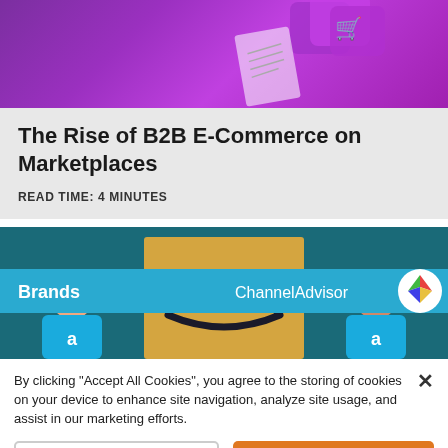[Figure (illustration): Purple/magenta keyboard keys hero image with shopping cart icon on keyboard and a document/paper icon]
The Rise of B2B E-Commerce on Marketplaces
READ TIME: 4 MINUTES
[Figure (illustration): ChannelAdvisor branded image showing Brands label on blue bar with ChannelAdvisor logo, two figures in Amazon blue shirts flanking an Amazon-branded box with the Amazon smile arrow logo]
By clicking “Accept All Cookies”, you agree to the storing of cookies on your device to enhance site navigation, analyze site usage, and assist in our marketing efforts.
Cookies Settings
Accept All Cookies